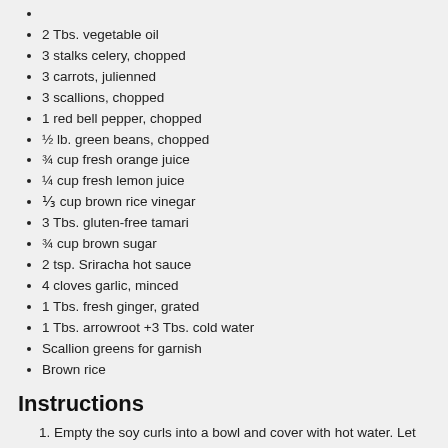2 Tbs. vegetable oil
3 stalks celery, chopped
3 carrots, julienned
3 scallions, chopped
1 red bell pepper, chopped
½ lb. green beans, chopped
¾ cup fresh orange juice
¼ cup fresh lemon juice
⅓ cup brown rice vinegar
3 Tbs. gluten-free tamari
¾ cup brown sugar
2 tsp. Sriracha hot sauce
4 cloves garlic, minced
1 Tbs. fresh ginger, grated
1 Tbs. arrowroot +3 Tbs. cold water
Scallion greens for garnish
Brown rice
Instructions
Empty the soy curls into a bowl and cover with hot water. Let stand 10 minutes until softened. Gently squeeze out the excess liquid and pat dry. Toss with arrowroot powder, garlic powder, paprika, salt and 5-spice powder.
In a deep saute pan or wok, heat a few spoons of vegetable oil over medium-high heat. Cook the soy curls until browned, about 6 minutes per side. Transfer to a bowl and try not to eat them.
In the same pan...